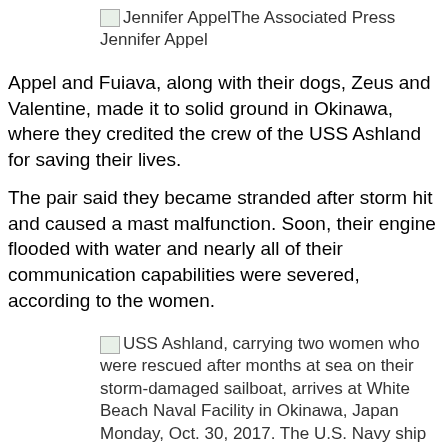Jennifer AppelThe Associated Press
Jennifer Appel
Appel and Fuiava, along with their dogs, Zeus and Valentine, made it to solid ground in Okinawa, where they credited the crew of the USS Ashland for saving their lives.
The pair said they became stranded after storm hit and caused a mast malfunction. Soon, their engine flooded with water and nearly all of their communication capabilities were severed, according to the women.
USS Ashland, carrying two women who were rescued after months at sea on their storm-damaged sailboat, arrives at White Beach Naval Facility in Okinawa, Japan Monday, Oct. 30, 2017. The U.S. Navy ship arrived at the American Navy base, five days after
The Associated Press
USS Ashland, carrying two women who were rescued after months at sea on their storm-damaged sailboat, arrives at White Beach Naval Facility in Okinawa, Japan Monday, Oct. 30, 2017.
The U.S. Navy ship arrived at the American Navy